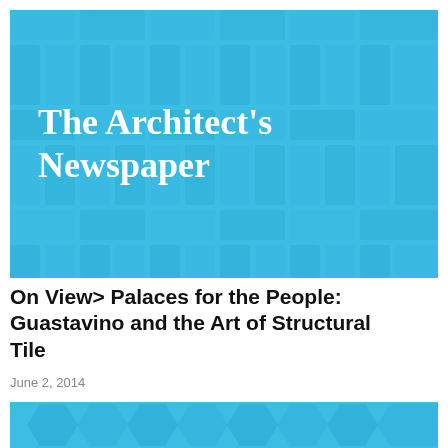[Figure (logo): The Architect's Newspaper logo white text on blue woven tile pattern background]
On View> Palaces for the People: Guastavino and the Art of Structural Tile
June 2, 2014
[Figure (illustration): Partial blue hexagonal tile pattern image cropped at bottom of page]